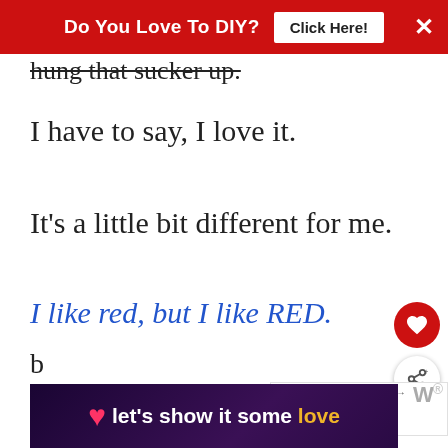Do You Love To DIY? [Click Here!] ×
hung that sucker up.
I have to say, I love it.
It's a little bit different for me.
I like red, but I like RED.
These flowers are a bit pink and normally chose a more tailored pattern,
[Figure (other): let's show it some love advertisement banner with heart icon]
b...ns